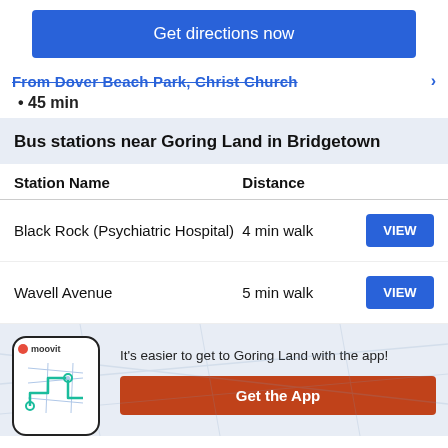Get directions now
From Dover Beach Park, Christ Church
• 45 min
Bus stations near Goring Land in Bridgetown
| Station Name | Distance |  |
| --- | --- | --- |
| Black Rock (Psychiatric Hospital) | 4 min walk | VIEW |
| Wavell Avenue | 5 min walk | VIEW |
It's easier to get to Goring Land with the app!
Get the App